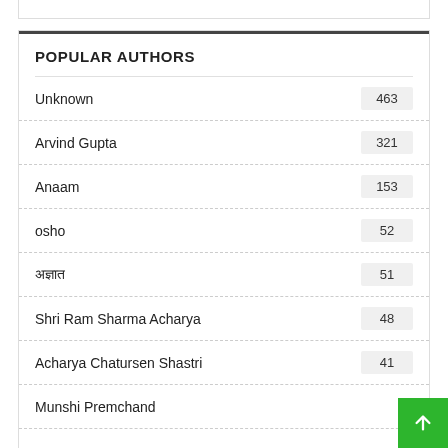POPULAR AUTHORS
Unknown 463
Arvind Gupta 321
Anaam 153
osho 52
अज्ञात 51
Shri Ram Sharma Acharya 48
Acharya Chatursen Shastri 41
Munshi Premchand